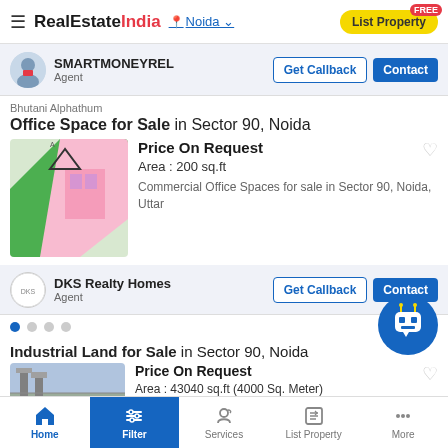RealEstateIndia | Noida | List Property (FREE)
SMARTMONEYREL
Agent | Get Callback | Contact
Bhutani Alphathum
Office Space for Sale in Sector 90, Noida
Price On Request
Area : 200 sq.ft
Commercial Office Spaces for sale in Sector 90, Noida, Uttar
DKS Realty Homes
Agent | Get Callback | Contact
Industrial Land for Sale in Sector 90, Noida
Price On Request
Area : 43040 sq.ft (4000 Sq. Meter)
Home | Filter | Services | List Property | More